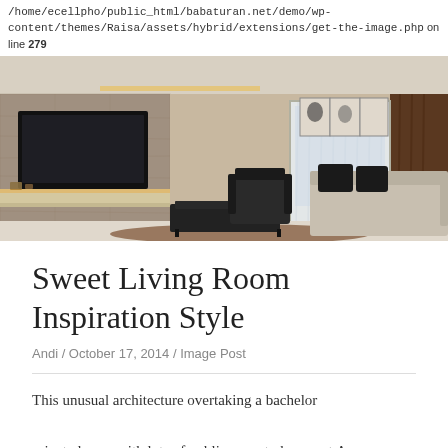/home/ecellpho/public_html/babaturan.net/demo/wp-content/themes/Raisa/assets/hybrid/extensions/get-the-image.php on line 279
[Figure (photo): Interior photo of a modern living room with TV mounted on stone wall, glass coffee table, dark sofa with black cushions, sheer curtains, and framed artwork on beige wall.]
Sweet Living Room Inspiration Style
Andi / October 17, 2014 / Image Post
This unusual architecture overtaking a bachelor oriented cozy with lots of public areas to hang out.A